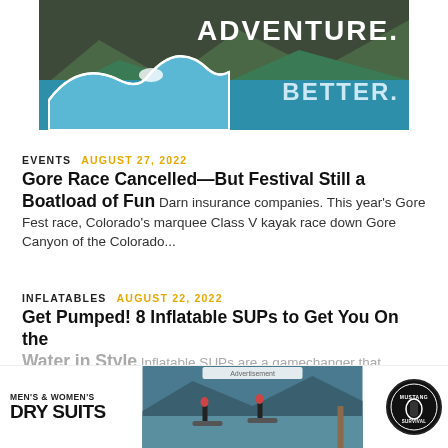[Figure (illustration): Advertisement banner with wave graphic, text ADVENTURE. BETTER. on dark/teal background]
EVENTS   AUGUST 27, 2022
Gore Race Cancelled—But Festival Still a Boatload of Fun  Darn insurance companies. This year's Gore Fest race, Colorado's marquee Class V kayak race down Gore Canyon of the Colorado...
INFLATABLES   AUGUST 22, 2022
Get Pumped! 8 Inflatable SUPs to Get You On the Water in Style  Inflatable SUPs are a gamechanger that
[Figure (photo): Advertisement at bottom: MEN'S & WOMEN'S DRY SUITS with photo of two people on paddleboards on a lake, and Mustang Survival logo badge]